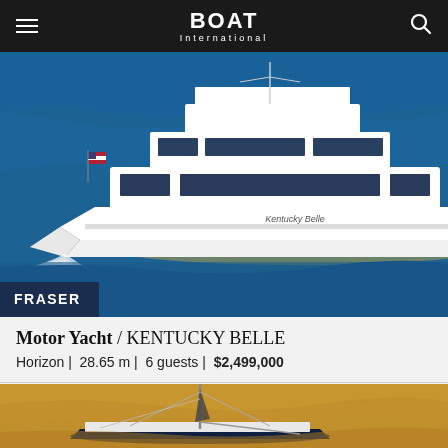BOAT International
[Figure (photo): Aerial view of motor yacht Kentucky Belle underway on blue water, white hull, American flag at stern, FRASER broker badge overlaid at bottom left]
Motor Yacht / KENTUCKY BELLE
Horizon | 28.65 m | 6 guests | $2,499,000
[Figure (photo): Partial view of a sailing yacht on golden-lit water, mast and rigging visible, dark hull]